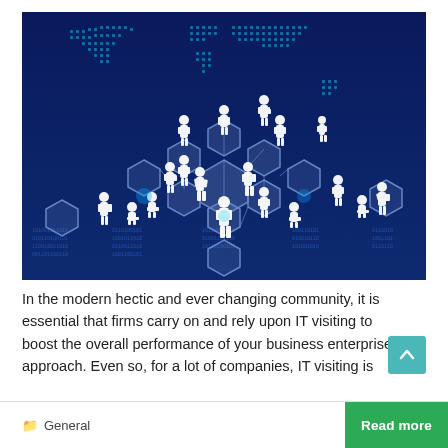[Figure (illustration): Digital network illustration showing white human silhouettes standing on connected hexagonal platforms against a dark blue background with a world map made of glowing dots and a binary code grid floor.]
In the modern hectic and ever changing community, it is essential that firms carry on and rely upon IT visiting to boost the overall performance of your business enterprise approach. Even so, for a lot of companies, IT visiting is
General
Read more